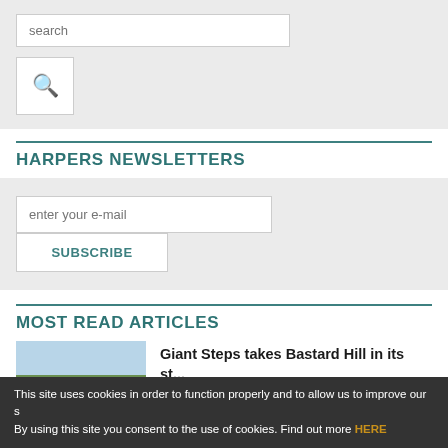[Figure (screenshot): Search input box with placeholder text 'search' and a search button below with magnifying glass icon]
HARPERS NEWSLETTERS
[Figure (screenshot): Newsletter signup area with email input field 'enter your e-mail' and a SUBSCRIBE button]
MOST READ ARTICLES
[Figure (photo): Vineyard rows with bare vines in winter/early spring under a blue sky]
Giant Steps takes Bastard Hill in its st...
This site uses cookies in order to function properly and to allow us to improve our s By using this site you consent to the use of cookies. Find out more HERE